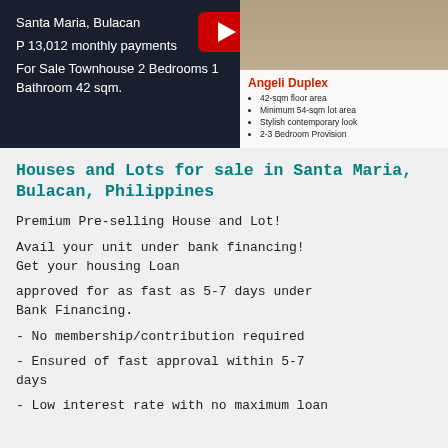[Figure (screenshot): Dark banner showing property listing for Santa Maria, Bulacan with YouTube play button overlay. Text reads: Santa Maria, Bulacan, P 13,012 monthly payments, For Sale Townhouse 2 Bedrooms 1 Bathroom 42 sqm. Right side shows Angeli Duplex card with bullet points: 42-sqm floor area, Minimum 54-sqm lot area, Stylish contemporary look, 2-3 Bedroom Provision.]
Houses and Lots for sale in Santa Maria, Bulacan, Philippines
Premium Pre-selling House and Lot!
Avail your unit under bank financing! Get your housing Loan
approved for as fast as 5-7 days under Bank Financing.
- No membership/contribution required
- Ensured of fast approval within 5-7 days
- Low interest rate with no maximum loan